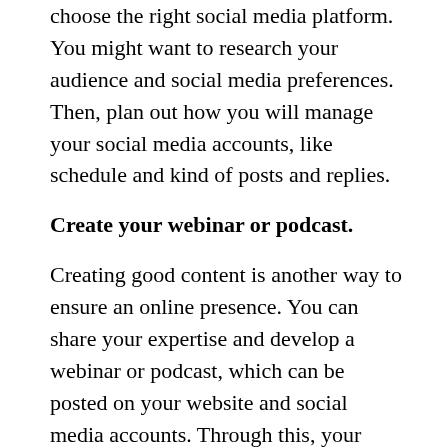choose the right social media platform. You might want to research your audience and social media preferences. Then, plan out how you will manage your social media accounts, like schedule and kind of posts and replies.
Create your webinar or podcast.
Creating good content is another way to ensure an online presence. You can share your expertise and develop a webinar or podcast, which can be posted on your website and social media accounts. Through this, your target audience can relate to you more, and they can share your content on their own social media accounts. You can quickly gain more followers and a broader network too.
Create an email list